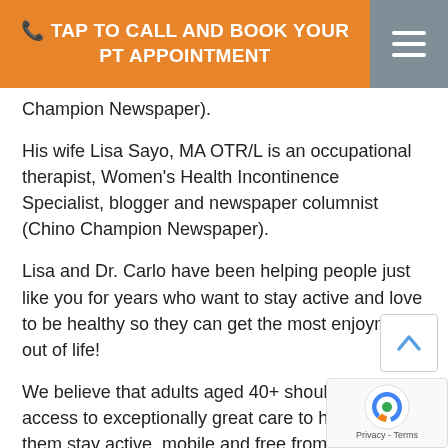TAP TO CALL AND BOOK YOUR PT APPOINTMENT
Champion Newspaper).
His wife Lisa Sayo, MA OTR/L is an occupational therapist, Women's Health Incontinence Specialist, blogger and newspaper columnist (Chino Champion Newspaper).
Lisa and Dr. Carlo have been helping people just like you for years who want to stay active and love to be healthy so they can get the most enjoyment out of life!
We believe that adults aged 40+ should have access to exceptionally great care to help them stay active, mobile and free from pain medications.
If you would like to know how the Empower Tea Empower P.T. and Wellness can help you live wit pain and get you back to feeling great again - we invite